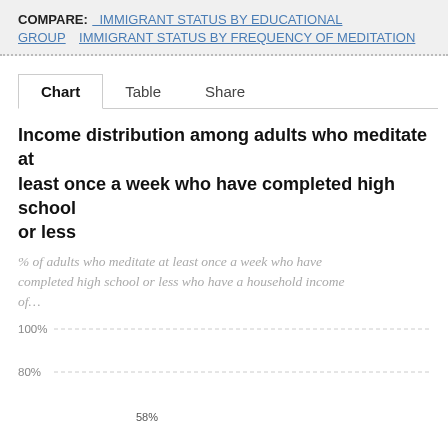COMPARE: IMMIGRANT STATUS BY EDUCATIONAL GROUP   IMMIGRANT STATUS BY FREQUENCY OF MEDITATION
Chart   Table   Share
Income distribution among adults who meditate at least once a week who have completed high school or less
% of adults who meditate at least once a week who have completed high school or less who have a household income of…
[Figure (bar-chart): Partial bar chart visible with y-axis showing 100%, 80%, and partially 58% gridlines. Chart is cut off at bottom of page.]